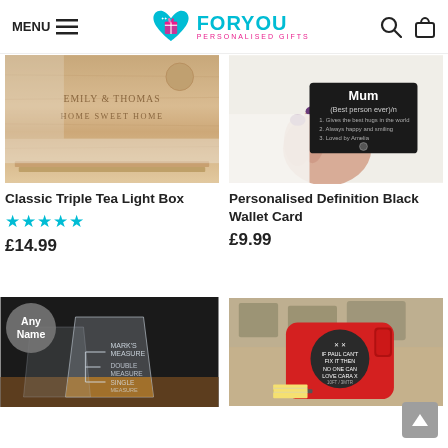MENU | ForYou Personalised Gifts | Search | Bag
[Figure (photo): Personalised wooden triple tea light box engraved with EMILY & THOMAS HOME SWEET HOME]
Classic Triple Tea Light Box
★★★★★
£14.99
[Figure (photo): Person holding a black metal personalised definition wallet card reading 'Mum (Best person ever)/n']
Personalised Definition Black Wallet Card
£9.99
[Figure (photo): Personalised engraved whisky glass with Mark's Measure, Double Measure, Single Measure markings, with Any Name badge overlay]
[Figure (photo): Red personalised tape measure with dark circular label reading custom message, on wooden background]